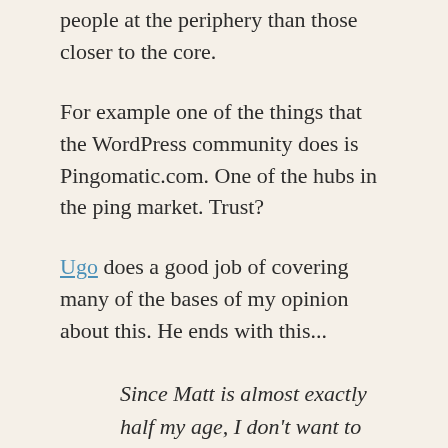people at the periphery than those closer to the core.
For example one of the things that the WordPress community does is Pingomatic.com. One of the hubs in the ping market. Trust?
Ugo does a good job of covering many of the bases of my opinion about this. He ends with this...
Since Matt is almost exactly half my age, I don't want to be too harsh. Who's not done something terribly stupid in his youth? I'm sure he'll regret this and reform his ways. Unfortunately for him, the web, and